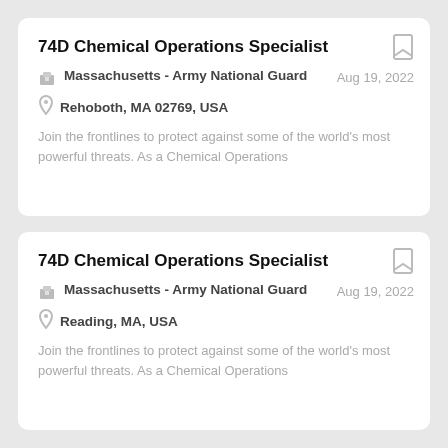74D Chemical Operations Specialist
Massachusetts - Army National Guard
Aug 19, 2022
Rehoboth, MA 02769, USA
Join the frontlines to protect against some of the world's most powerful threats. As a Chemical Operations
74D Chemical Operations Specialist
Massachusetts - Army National Guard
Aug 19, 2022
Reading, MA, USA
Join the frontlines to protect against some of the world's most powerful threats. As a Chemical Operations